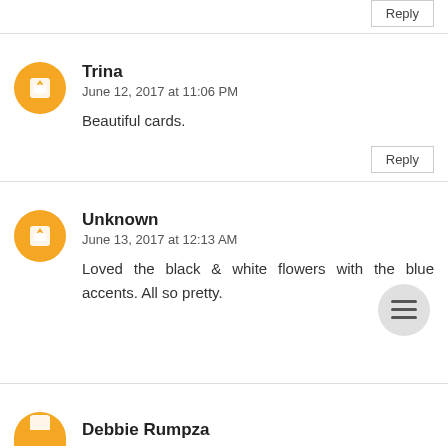Reply
Trina
June 12, 2017 at 11:06 PM
Beautiful cards.
Reply
Unknown
June 13, 2017 at 12:13 AM
Loved the black & white flowers with the blue accents. All so pretty.
Debbie Rumpza